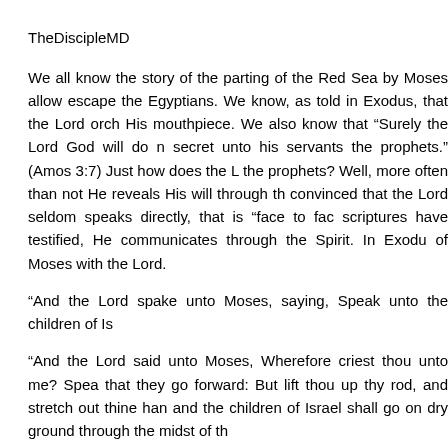TheDiscipleMD
We all know the story of the parting of the Red Sea by Moses allow escape the Egyptians. We know, as told in Exodus, that the Lord orch His mouthpiece. We also know that “Surely the Lord God will do n secret unto his servants the prophets.” (Amos 3:7) Just how does the L the prophets? Well, more often than not He reveals His will through th convinced that the Lord seldom speaks directly, that is “face to fac scriptures have testified, He communicates through the Spirit. In Exodu of Moses with the Lord.
“And the Lord spake unto Moses, saying, Speak unto the children of Is
“And the Lord said unto Moses, Wherefore criest thou unto me? Spea that they go forward: But lift thou up thy rod, and stretch out thine han and the children of Israel shall go on dry ground through the midst of th
“And the Lord said unto Moses, Stretch out thine hand over the sea again upon the Egyptians, upon their chariots, and upon their horseme
The question is- Was the Lord standing next to Moses telling Him “ these occasions? Was He? I guess it could have been done tha communicates with His prophets more times than not, just like He com